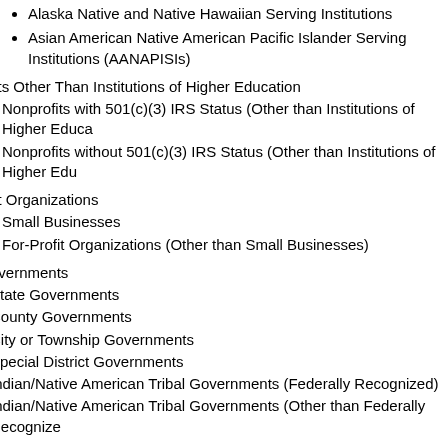Alaska Native and Native Hawaiian Serving Institutions
Asian American Native American Pacific Islander Serving Institutions (AANAPISIs)
fits Other Than Institutions of Higher Education
Nonprofits with 501(c)(3) IRS Status (Other than Institutions of Higher Education)
Nonprofits without 501(c)(3) IRS Status (Other than Institutions of Higher Education)
fit Organizations
Small Businesses
For-Profit Organizations (Other than Small Businesses)
overnments
State Governments
County Governments
City or Township Governments
Special District Governments
Indian/Native American Tribal Governments (Federally Recognized)
Indian/Native American Tribal Governments (Other than Federally Recognized)
Government
Eligible Agencies of the Federal Government
U.S. Territory or Possession